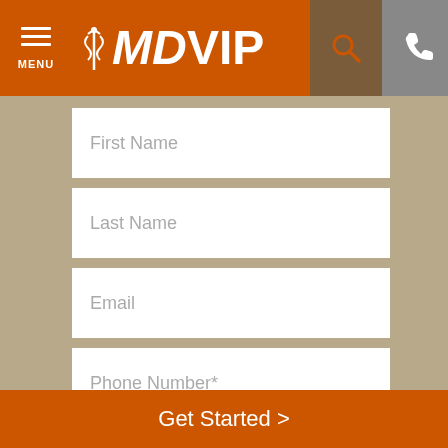[Figure (screenshot): MDVIP website header with orange background, hamburger menu on left, MDVIP logo in center-left, search icon and phone icon on right]
First Name
Last Name
Email
Phone Number*
ZIP Code
Get Started >